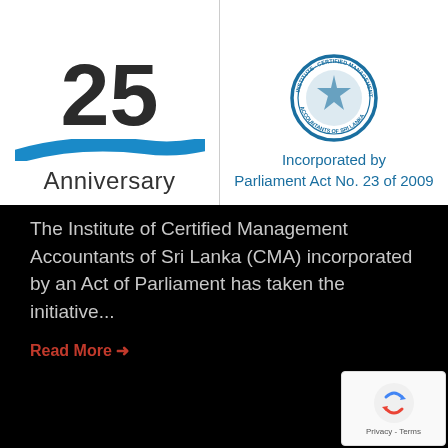[Figure (logo): CMA Sri Lanka 25th Anniversary logo with '25' in dark text, blue swish swoosh, and 'Anniversary' text below]
[Figure (logo): CMA Sri Lanka circular seal/emblem in blue with text 'Incorporated by Parliament Act No. 23 of 2009']
The Institute of Certified Management Accountants of Sri Lanka (CMA) incorporated by an Act of Parliament has taken the initiative...
Read More →
[Figure (other): reCAPTCHA widget showing rotating arrows icon with 'Privacy - Terms' text below]